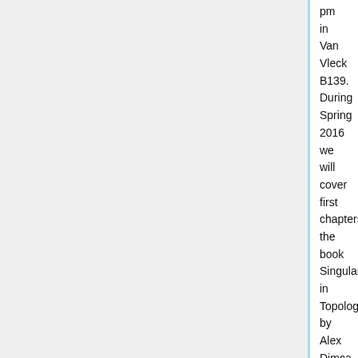pm in Van Vleck B139. During Spring 2016 we will cover first chapters the book Singularities in Topology by Alex Dimca (Universitext, Springer Verlag, 2004). If you would like to participate giving one of the talks, please contact Eva Elduque or Christian Geske.
| date | speaker | title |
| --- | --- | --- |
| Feb. 8 (M) | Christian Geske | Section 1.1 and 1.2: Category of complexes and Homotopical category |
| Feb. 15 (M) | Eva Elduque | Sections 1.3 and 1.4: Derived category and derived functors |
|  |  | Sections 2.1 and |